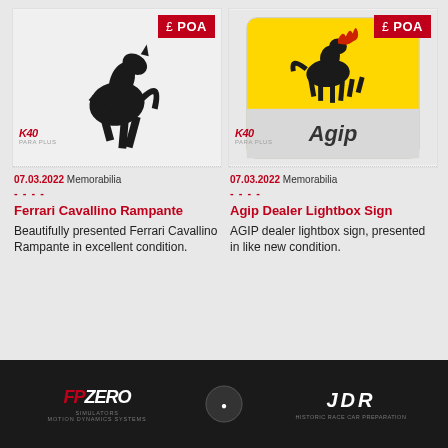[Figure (photo): Ferrari Cavallino Rampante black prancing horse sculpture on white/grey background with £ POA red price badge and K40 watermark]
[Figure (photo): Agip dealer lightbox sign showing the Agip six-legged dog logo on yellow background with Agip text below on white/grey background, £ POA red price badge and K40 watermark]
07.03.2022 Memorabilia
----
Ferrari Cavallino Rampante
Beautifully presented Ferrari Cavallino Rampante in excellent condition.
07.03.2022 Memorabilia
----
Agip Dealer Lightbox Sign
AGIP dealer lightbox sign, presented in like new condition.
FPZERO SIMULATORS | JDR HISTORIC RACE CAR PREPARATION